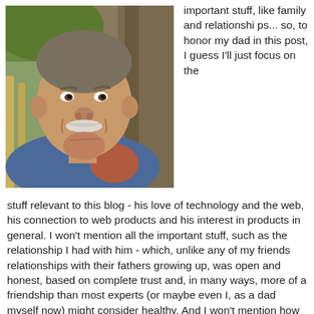[Figure (photo): Older man with white mustache, smiling, resting chin on hand, outdoors with trees in background, wearing blue shirt]
important stuff, like family and relationships... so, to honor my dad in this post, I guess I'll just focus on the stuff relevant to this blog - his love of technology and the web, his connection to web products and his interest in products in general. I won't mention all the important stuff, such as the relationship I had with him - which, unlike any of my friends relationships with their fathers growing up, was open and honest, based on complete trust and, in many ways, more of a friendship than most experts (or maybe even I, as a dad myself now) might consider healthy. And I won't mention how much I loved him, 'cause even if I tried, there are no words on paper or bits on a web server somewhere which could fairly describe the depth of my love for him... and I won't mention how deeply I trusted him and